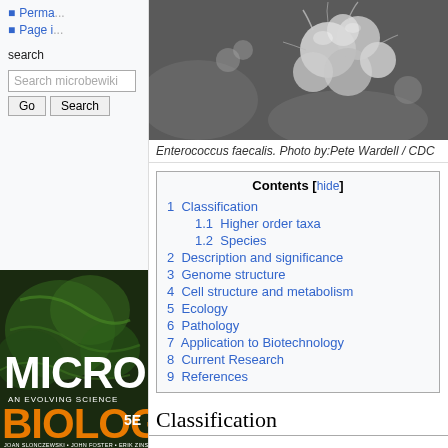Perma...
Page i...
search
[Figure (screenshot): Search box with label 'Search microbewiki', Go button, and Search button]
[Figure (photo): Scanning electron microscope image of Enterococcus faecalis bacteria]
Enterococcus faecalis. Photo by:Pete Wardell / CDC
[Figure (photo): Book cover: Microbiology An Evolving Science 5E by Joan Slonczewski, John Foster, Erik Zinser]
| Contents |
| --- |
| 1 Classification |
| 1.1 Higher order taxa |
| 1.2 Species |
| 2 Description and significance |
| 3 Genome structure |
| 4 Cell structure and metabolism |
| 5 Ecology |
| 6 Pathology |
| 7 Application to Biotechnology |
| 8 Current Research |
| 9 References |
Classification